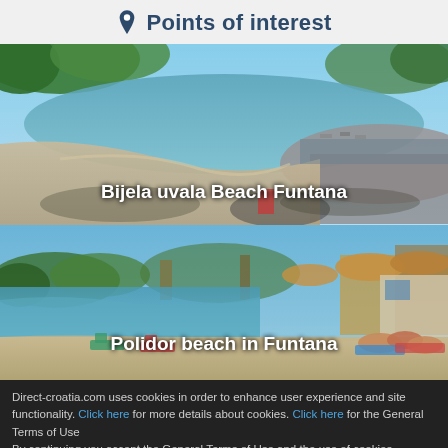Points of interest
[Figure (photo): Bijela uvala Beach Funtana - a sandy and pebble beach with calm turquoise water, marina visible in background with trees]
Bijela uvala Beach Funtana
[Figure (photo): Polidor beach in Funtana - beach with straw umbrellas, sun loungers, people sunbathing, view of sea and trees]
Polidor beach in Funtana
Direct-croatia.com uses cookies in order to enhance user experience and site functionality. Click here for more details about cookies. Click here for the General Terms of Use
By continuing you accept the General Terms of Use and the use of cookies.